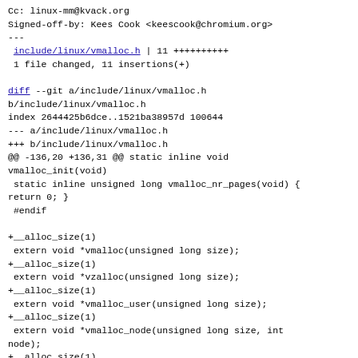Cc: linux-mm@kvack.org
Signed-off-by: Kees Cook <keescook@chromium.org>
---
 include/linux/vmalloc.h | 11 ++++++++++
 1 file changed, 11 insertions(+)

diff --git a/include/linux/vmalloc.h
b/include/linux/vmalloc.h
index 2644425b6dce..1521ba38957d 100644
--- a/include/linux/vmalloc.h
+++ b/include/linux/vmalloc.h
@@ -136,20 +136,31 @@ static inline void
vmalloc_init(void)
 static inline unsigned long vmalloc_nr_pages(void) {
return 0; }
 #endif

+__alloc_size(1)
 extern void *vmalloc(unsigned long size);
+__alloc_size(1)
 extern void *vzalloc(unsigned long size);
+__alloc_size(1)
 extern void *vmalloc_user(unsigned long size);
+__alloc_size(1)
 extern void *vmalloc_node(unsigned long size, int
node);
+__alloc_size(1)
 extern void *vzalloc_node(unsigned long size, int
node);
+__alloc_size(1)